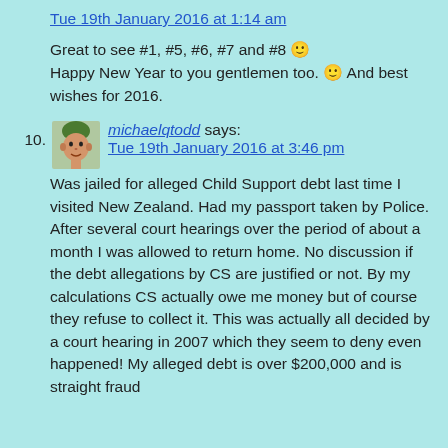Tue 19th January 2016 at 1:14 am
Great to see #1, #5, #6, #7 and #8 🙂
Happy New Year to you gentlemen too. 🙂 And best wishes for 2016.
10. michaelqtodd says:
Tue 19th January 2016 at 3:46 pm
Was jailed for alleged Child Support debt last time I visited New Zealand. Had my passport taken by Police. After several court hearings over the period of about a month I was allowed to return home. No discussion if the debt allegations by CS are justified or not. By my calculations CS actually owe me money but of course they refuse to collect it. This was actually all decided by a court hearing in 2007 which they seem to deny even happened! My alleged debt is over $200,000 and is straight fraud